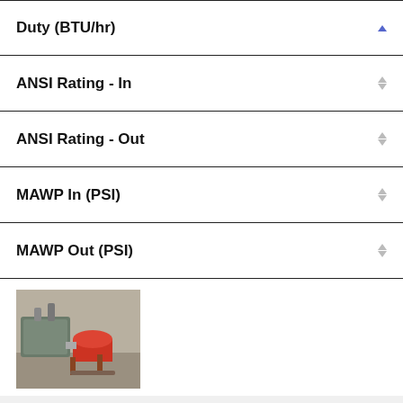Duty (BTU/hr)
ANSI Rating - In
ANSI Rating - Out
MAWP In (PSI)
MAWP Out (PSI)
[Figure (photo): Industrial heat exchanger equipment photo showing red/orange cylindrical components]
Duty (BTU/hr): 0-0.5 MM
ANSI Rating - In: 600 ANSI
ANSI Rating - Out: 300 ANSI